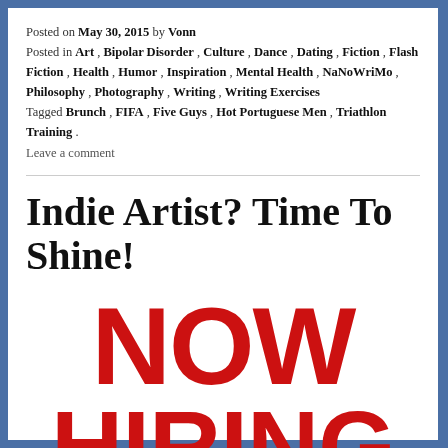Posted on May 30, 2015 by Vonn
Posted in Art, Bipolar Disorder, Culture, Dance, Dating, Fiction, Flash Fiction, Health, Humor, Inspiration, Mental Health, NaNoWriMo, Philosophy, Photography, Writing, Writing Exercises
Tagged Brunch, FIFA, Five Guys, Hot Portuguese Men, Triathlon Training.
Leave a comment
Indie Artist? Time To Shine!
[Figure (other): NOW HIRING text displayed in large bold red letters on white background]